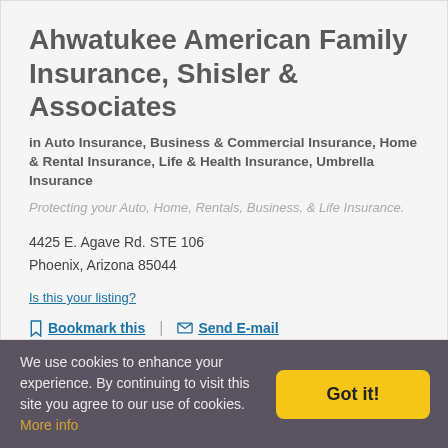Ahwatukee American Family Insurance, Shisler & Associates
in Auto Insurance, Business & Commercial Insurance, Home & Rental Insurance, Life & Health Insurance, Umbrella Insurance
Protecting your Auto, Home, Rentals, Business, & Life Insurance.
4425 E. Agave Rd. STE 106
Phoenix, Arizona 85044
Is this your listing?
Bookmark this  |  Send E-mail
480-951-5056
Visit Website
[Figure (other): Three dark blue circular social media icons (Facebook, Twitter/X, another)]
We use cookies to enhance your experience. By continuing to visit this site you agree to our use of cookies. More info